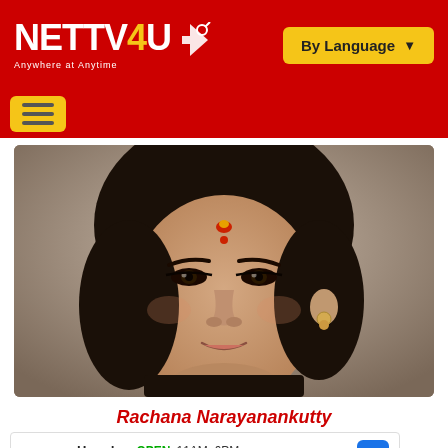NETTV4U Anywhere at Anytime | By Language
[Figure (photo): Close-up portrait of Indian actress Rachana Narayanankutty with bindi and earrings]
Rachana Narayanankutty
Herndon OPEN 11AM-6PM 2441 Centreville Rd., Herndon